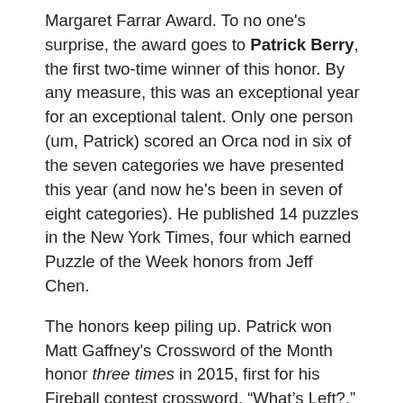Margaret Farrar Award. To no one's surprise, the award goes to Patrick Berry, the first two-time winner of this honor. By any measure, this was an exceptional year for an exceptional talent. Only one person (um, Patrick) scored an Orca nod in six of the seven categories we have presented this year (and now he's been in seven of eight categories). He published 14 puzzles in the New York Times, four which earned Puzzle of the Week honors from Jeff Chen.
The honors keep piling up. Patrick won Matt Gaffney's Crossword of the Month honor three times in 2015, first for his Fireball contest crossword, “What’s Left?,” in which rebus squares contained three of the four playing card suits (but not DIAMOND), six of the seven notes in do re mi (only LA was absent), and three of four corner directions from a compass (just not NE). Put the absent items together and you get DIAMOND LANE, the one...